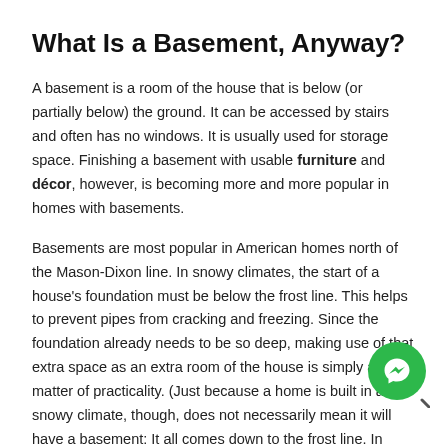What Is a Basement, Anyway?
A basement is a room of the house that is below (or partially below) the ground. It can be accessed by stairs and often has no windows. It is usually used for storage space. Finishing a basement with usable furniture and décor, however, is becoming more and more popular in homes with basements.
Basements are most popular in American homes north of the Mason-Dixon line. In snowy climates, the start of a house's foundation must be below the frost line. This helps to prevent pipes from cracking and freezing. Since the foundation already needs to be so deep, making use of that extra space as an extra room of the house is simply a matter of practicality. (Just because a home is built in a snowy climate, though, does not necessarily mean it will have a basement: It all comes down to the frost line. In Georgia, for example, the frost line is much closer to ground level than other states, leaving inadequate space for an entire basement. Another reason why some Southern states don't have basements: Limestone bedrock tends to make up the majority of the ground in certain